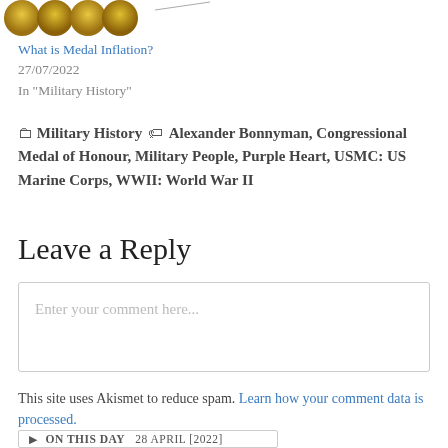[Figure (photo): Partial image of gold medals at the top of the page]
What is Medal Inflation?
27/07/2022
In "Military History"
Military History   Alexander Bonnyman, Congressional Medal of Honour, Military People, Purple Heart, USMC: US Marine Corps, WWII: World War II
Leave a Reply
Enter your comment here...
This site uses Akismet to reduce spam. Learn how your comment data is processed.
ON THIS DAY   28 APRIL [2022]